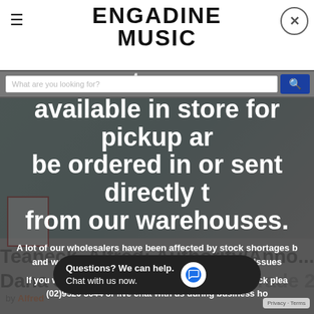ENGADINE MUSIC
What are you looking for?
PLEASE NOTE!!
Not all online stock is live to w available in store for pickup ar be ordered in or sent directly from our warehouses.
A lot of our wholesalers have been affected by stock shortages and we will do our best to notify you of any supply issues
If you would like to check if a product is currently in stock pleas (02)9520 3044 or live chat with us during business ho
Teaneck, Alfred: Authority/Anno... Dana Stage Band Sheet Grade 2...
by Alfred
Questions? We can help.
Chat with us now.